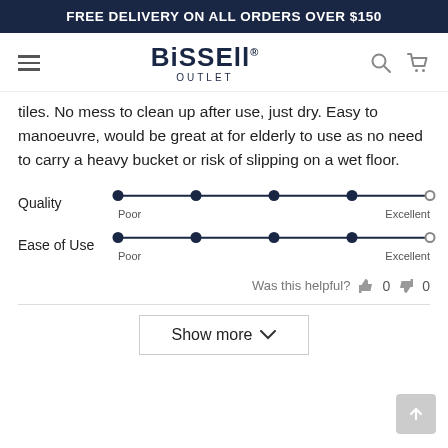FREE DELIVERY ON ALL ORDERS OVER $150
[Figure (logo): Bissell Outlet logo with hamburger menu, search icon, and cart icon]
tiles. No mess to clean up after use, just dry. Easy to manoeuvre, would be great at for elderly to use as no need to carry a heavy bucket or risk of slipping on a wet floor.
[Figure (infographic): Quality rating scale from Poor to Excellent with 4 filled dots and 1 empty dot at Excellent end]
[Figure (infographic): Ease of Use rating scale from Poor to Excellent with 4 filled dots and 1 empty dot at Excellent end]
Was this helpful? 👍 0 👎 0